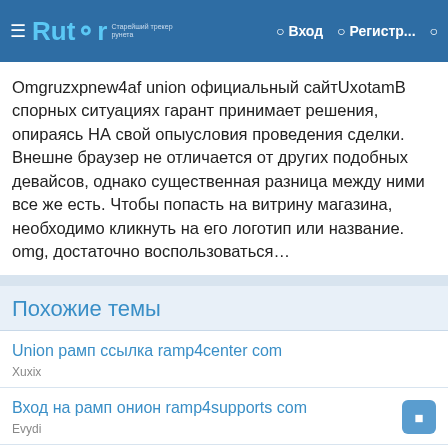☰ Rutor Вход Регистр...
Omgruzxpnew4af union официальный сайтUxotamВ спорных ситуациях гарант принимает решения, опираясь НА свой опыусловия проведения сделки. Внешне браузер не отличается от других подобных девайсов, однако существенная разница между ними все же есть. Чтобы попасть на витрину магазина, необходимо кликнуть на его логотип или название. omg, достаточно воспользоваться...
Похожие темы
Union рамп ссылка ramp4center com
Xuxix
Вход на рамп онион ramp4supports com
Evydi
Официальный сайт рамп онион ссылка ramp4center com